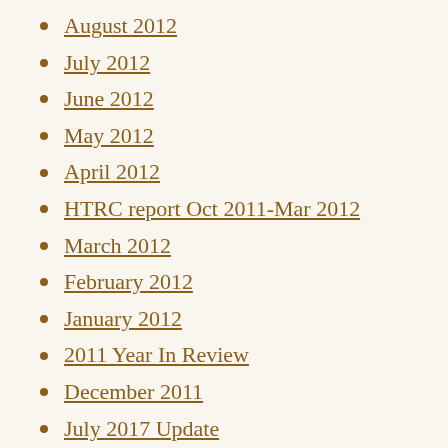August 2012
July 2012
June 2012
May 2012
April 2012
HTRC report Oct 2011-Mar 2012
March 2012
February 2012
January 2012
2011 Year In Review
December 2011
July 2017 Update
November 2011
October 2011